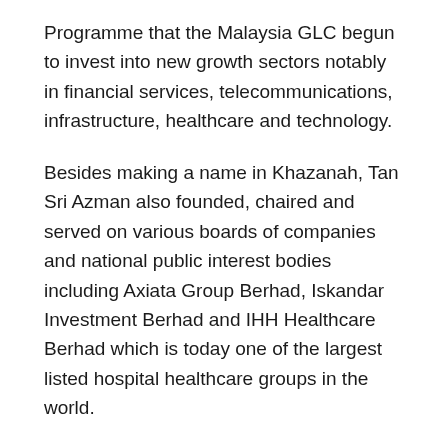Programme that the Malaysia GLC begun to invest into new growth sectors notably in financial services, telecommunications, infrastructure, healthcare and technology.
Besides making a name in Khazanah, Tan Sri Azman also founded, chaired and served on various boards of companies and national public interest bodies including Axiata Group Berhad, Iskandar Investment Berhad and IHH Healthcare Berhad which is today one of the largest listed hospital healthcare groups in the world.
Tan Sri Azman is currently the Distinguished Visiting Fellow at the Centre of Development Studies, University of Cambridge; a Bye-Fellow of Darwin College, University of Cambridge; and an Adjunct Professor at...